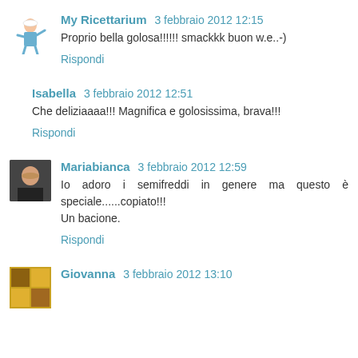My Ricettarium 3 febbraio 2012 12:15 — Proprio bella golosa!!!!!! smackkk buon w.e..-) — Rispondi
Isabella 3 febbraio 2012 12:51 — Che deliziaaaa!!! Magnifica e golosissima, brava!!! — Rispondi
Mariabianca 3 febbraio 2012 12:59 — Io adoro i semifreddi in genere ma questo è speciale......copiato!!! Un bacione. — Rispondi
Giovanna 3 febbraio 2012 13:10